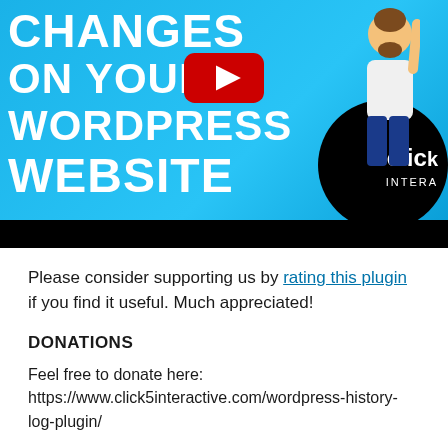[Figure (screenshot): YouTube video thumbnail showing a blue background with white bold text reading 'CHANGES ON YOUR WORDPRESS WEBSITE', a YouTube play button in the center, a cartoon man on the right, and a black circle with 'click INTERA' text. A black bar runs along the bottom.]
Please consider supporting us by rating this plugin if you find it useful. Much appreciated!
DONATIONS
Feel free to donate here: https://www.click5interactive.com/wordpress-history-log-plugin/